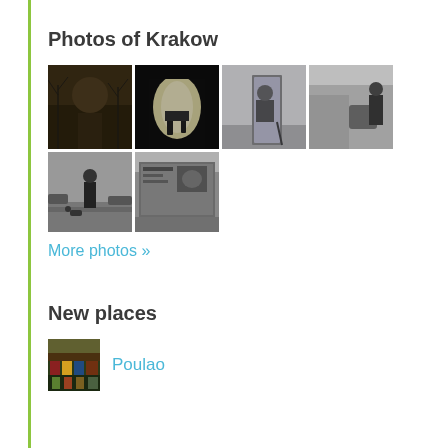Photos of Krakow
[Figure (photo): Grid of 6 black and white photos of Krakow: winter cityscape with dome, tunnel with figure in light, person with cane sitting, street scene with suitcase and person, person walking with dog in snow, street bulletin board]
More photos »
New places
[Figure (photo): Thumbnail photo of a colorful market or shop]
Poulao